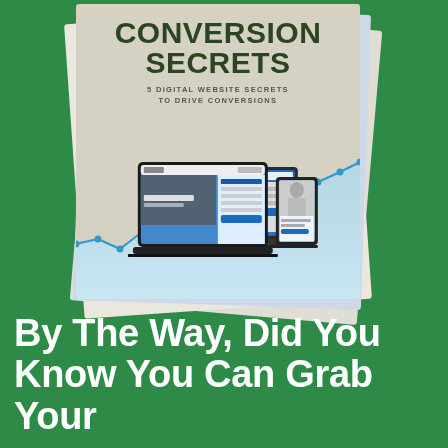[Figure (illustration): A stack of book/report covers showing 'Conversion Secrets - 5 Digital Website Secrets to Drive Conversions' with a line chart and laptop/device mockups on the cover, displayed on a green background.]
By The Way, Did You Know You Can Grab Your